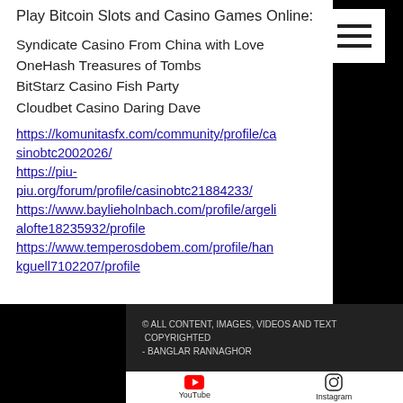Play Bitcoin Slots and Casino Games Online:
Syndicate Casino From China with Love
OneHash Treasures of Tombs
BitStarz Casino Fish Party
Cloudbet Casino Daring Dave
https://komunitasfx.com/community/profile/casinobtc2002026/
https://piu-piu.org/forum/profile/casinobtc21884233/
https://www.baylieholnbach.com/profile/argelialofte18235932/profile
https://www.temperosdobem.com/profile/hankguell7102207/profile
© ALL CONTENT, IMAGES, VIDEOS AND TEXT COPYRIGHTED
- BANGLAR RANNAGHOR
YouTube  Instagram